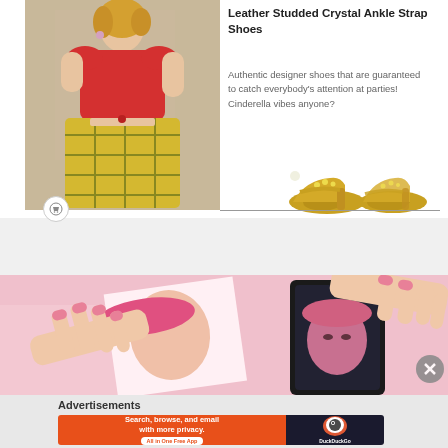[Figure (photo): Fashion photo of a woman wearing a red off-shoulder crop top and yellow plaid skirt, with ornate background]
Leather Studded Crystal Ankle Strap Shoes
Authentic designer shoes that are guaranteed to catch everybody's attention at parties! Cinderella vibes anyone?
[Figure (photo): Gold studded crystal ankle strap heels product photo]
[Figure (photo): Video thumbnail showing hands holding illustrated cards with anime-style characters on pink background]
Advertisements
[Figure (screenshot): DuckDuckGo advertisement banner: Search, browse, and email with more privacy. All in One Free App. DuckDuckGo logo on dark background.]